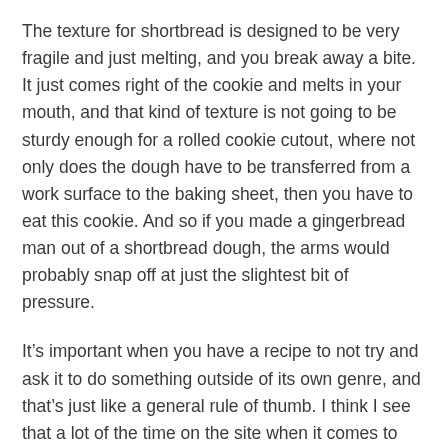The texture for shortbread is designed to be very fragile and just melting, and you break away a bite. It just comes right of the cookie and melts in your mouth, and that kind of texture is not going to be sturdy enough for a rolled cookie cutout, where not only does the dough have to be transferred from a work surface to the baking sheet, then you have to eat this cookie. And so if you made a gingerbread man out of a shortbread dough, the arms would probably snap off at just the slightest bit of pressure.
It’s important when you have a recipe to not try and ask it to do something outside of its own genre, and that’s just like a general rule of thumb. I think I see that a lot of the time on the site when it comes to cakes. People